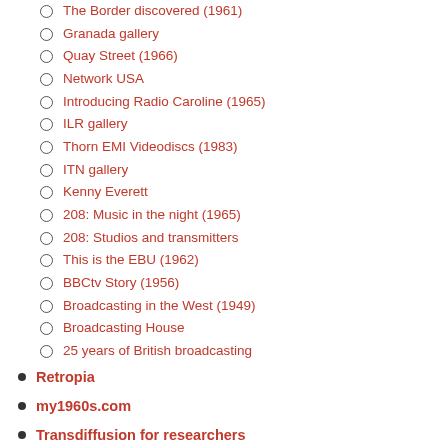The Border discovered (1961)
Granada gallery
Quay Street (1966)
Network USA
Introducing Radio Caroline (1965)
ILR gallery
Thorn EMI Videodiscs (1983)
ITN gallery
Kenny Everett
208: Music in the night (1965)
208: Studios and transmitters
This is the EBU (1962)
BBCtv Story (1956)
Broadcasting in the West (1949)
Broadcasting House
25 years of British broadcasting
Retropia
my1960s.com
Transdiffusion for researchers